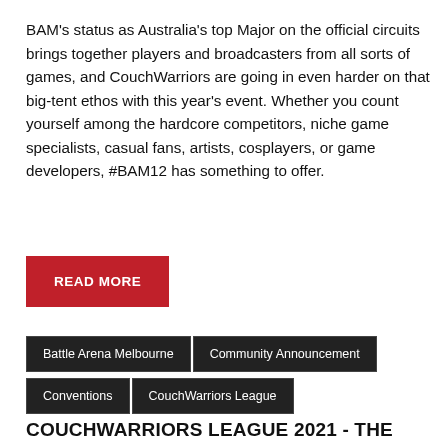BAM's status as Australia's top Major on the official circuits brings together players and broadcasters from all sorts of games, and CouchWarriors are going in even harder on that big-tent ethos with this year's event. Whether you count yourself among the hardcore competitors, niche game specialists, casual fans, artists, cosplayers, or game developers, #BAM12 has something to offer.
READ MORE
Battle Arena Melbourne
Community Announcement
Conventions
CouchWarriors League
COUCHWARRIORS LEAGUE 2021 - THE